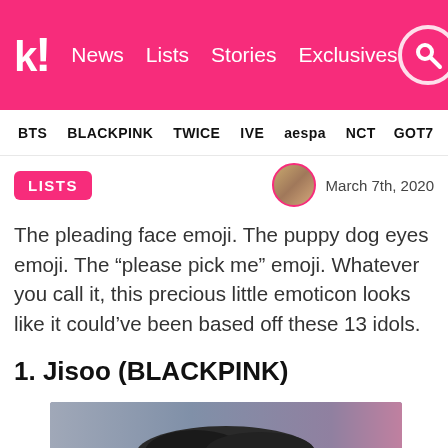k! News Lists Stories Exclusives [search]
BTS BLACKPINK TWICE IVE aespa NCT GOT7
LISTS   March 7th, 2020
The pleading face emoji. The puppy dog eyes emoji. The “please pick me” emoji. Whatever you call it, this precious little emoticon looks like it could’ve been based off these 13 idols.
1. Jisoo (BLACKPINK)
[Figure (photo): Photo of Jisoo from BLACKPINK showing pleading/puppy dog eyes expression]